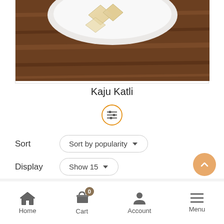[Figure (photo): Photo of Kaju Katli (cashew sweet) on a white plate over a wooden background, partially cropped at top]
Kaju Katli
[Figure (other): Circular options/filter icon with horizontal sliders symbol, orange border]
Sort  Sort by popularity ▾
Display  Show 15 ▾
[Figure (other): Grid view icon (orange filled squares) and list view icon]
Home  Cart (0)  Account  Menu